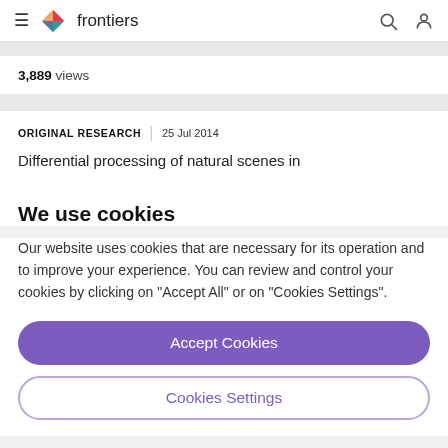frontiers
3,889 views
ORIGINAL RESEARCH | 25 Jul 2014
Differential processing of natural scenes in
We use cookies
Our website uses cookies that are necessary for its operation and to improve your experience. You can review and control your cookies by clicking on "Accept All" or on "Cookies Settings".
Accept Cookies
Cookies Settings